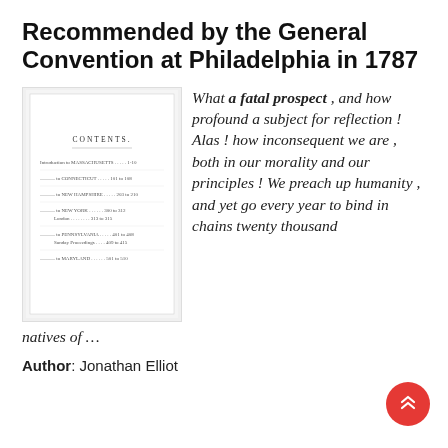Recommended by the General Convention at Philadelphia in 1787
[Figure (illustration): Small thumbnail of a book's table of contents page titled 'CONTENTS' with several entries listed]
What a fatal prospect , and how profound a subject for reflection ! Alas ! how inconsequent we are , both in our morality and our principles ! We preach up humanity , and yet go every year to bind in chains twenty thousand natives of …
Author: Jonathan Elliot